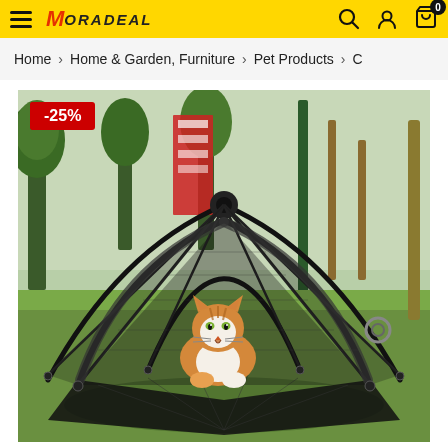MORADEAL - hamburger menu, search, user, cart icons
Home > Home & Garden, Furniture > Pet Products > C
[Figure (photo): Outdoor cat enclosure tent made of black mesh net with arched poles, set up on grass in a park. An orange and white cat sits inside the tent. A red discount badge showing -25% is overlaid in the top-left corner of the image.]